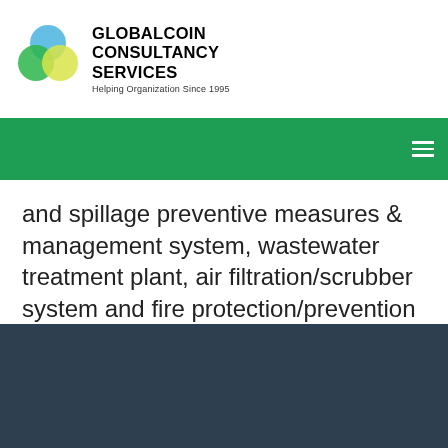GLOBALCOIN CONSULTANCY SERVICES — Helping Organization Since 1995
and spillage preventive measures & management system, wastewater treatment plant, air filtration/scrubber system and fire protection/prevention system, etc.